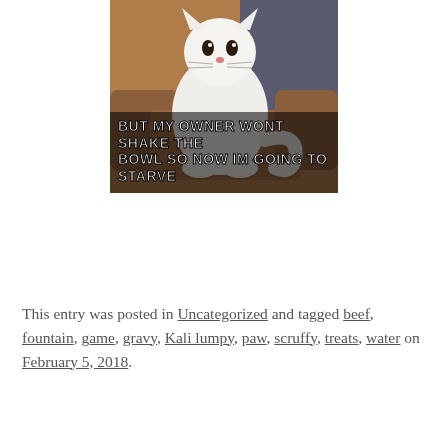[Figure (photo): A white cat sitting on a brown couch/chair with meme text overlay at the bottom reading: BUT MY OWNER WONT SHAKE THE BOWL SO NOW IM GOING TO STARVE]
This entry was posted in Uncategorized and tagged beef, fountain, game, gravy, Kali lumpy, paw, scruffy, treats, water on February 5, 2018.